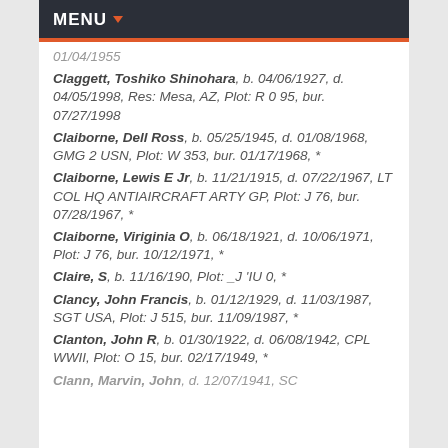MENU
01/04/1955
Claggett, Toshiko Shinohara, b. 04/06/1927, d. 04/05/1998, Res: Mesa, AZ, Plot: R 0 95, bur. 07/27/1998
Claiborne, Dell Ross, b. 05/25/1945, d. 01/08/1968, GMG 2 USN, Plot: W 353, bur. 01/17/1968, *
Claiborne, Lewis E Jr, b. 11/21/1915, d. 07/22/1967, LT COL HQ ANTIAIRCRAFT ARTY GP, Plot: J 76, bur. 07/28/1967, *
Claiborne, Viriginia O, b. 06/18/1921, d. 10/06/1971, Plot: J 76, bur. 10/12/1971, *
Claire, S, b. 11/16/190, Plot: _J 'IU 0, *
Clancy, John Francis, b. 01/12/1929, d. 11/03/1987, SGT USA, Plot: J 515, bur. 11/09/1987, *
Clanton, John R, b. 01/30/1922, d. 06/08/1942, CPL WWII, Plot: O 15, bur. 02/17/1949, *
Clann, Marvin, John, d. 12/07/1941, SC...